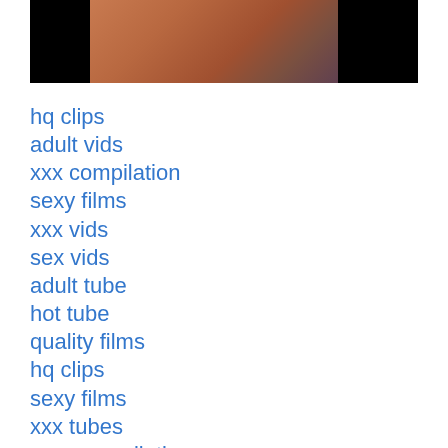[Figure (photo): Partial photo of a person's torso/midsection, dark background with skin tones visible in center]
hq clips
adult vids
xxx compilation
sexy films
xxx vids
sex vids
adult tube
hot tube
quality films
hq clips
sexy films
xxx tubes
porn compilation